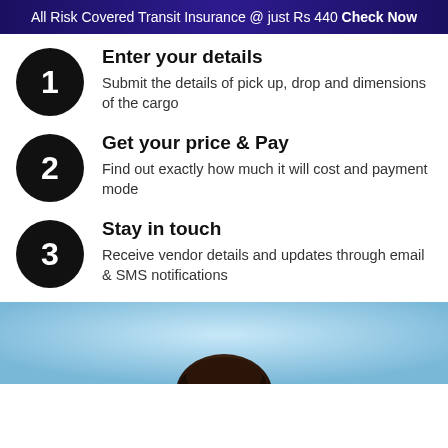All Risk Covered Transit Insurance @ just Rs 440 Check Now
1 Enter your details — Submit the details of pick up, drop and dimensions of the cargo
2 Get your price & Pay — Find out exactly how much it will cost and payment mode
3 Stay in touch — Receive vendor details and updates through email & SMS notifications
[Figure (photo): Photo of a person outdoors against a sky background, showing the top of their head and hair]